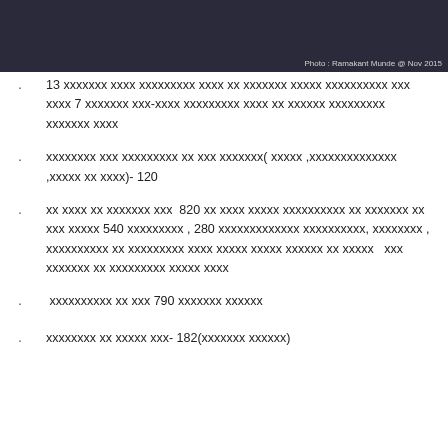[Figure (photo): Concert or event photo showing people on stage with blue lighting and musical equipment. Photo credit: Ramakant Munde @ Nov 2015]
13 xxxxxxx xxxx xxxxxxxxx xxxx xx xxxxxxx xxxxx xxxxxxxxxx xxx xxxx 7 xxxxxxx xxx-xxxx xxxxxxxxx xxxx xx xxxxxx xxxxxxxxx xxxxxxx xxxx
xxxxxxxx xxx xxxxxxxxx xx xxx xxxxxxx( xxxxx ,xxxxxxxxxxxxxx ,xxxxx xx xxxx)- 120
xx xxxx xx xxxxxxx xxx 820 xx xxxx xxxxx xxxxxxxxxx xx xxxxxxx xx xxx xxxxx 540 xxxxxxxxx , 280 xxxxxxxxxxxxx xxxxxxxxxx, xxxxxxxx , xxxxxxxxxx xx xxxxxxxxx xxxx xxxxx xxxxx xxxxxx xx xxxxx xxx xxxxxxx xx xxxxxxxxx xxxxx xxxx
xxxxxxxxxx xx xxx 790 xxxxxxx xxxxxx
xxxxxxxx xx xxxxx xxx- 182(xxxxxxx xxxxxx)